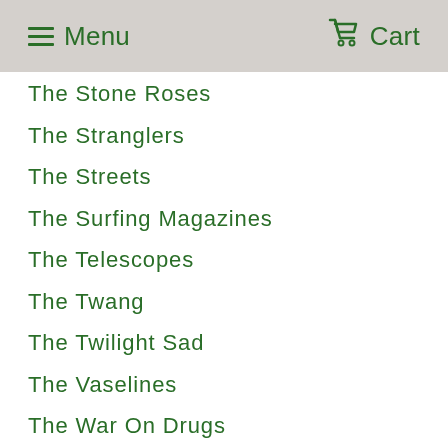Menu  Cart
The Stone Roses
The Stranglers
The Streets
The Surfing Magazines
The Telescopes
The Twang
The Twilight Sad
The Vaselines
The War On Drugs
The Waterboys
The Weather Station
The Wedding Present
The Weeknd
The White Stripes